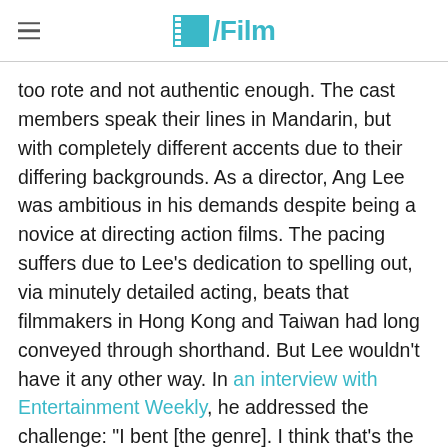/Film
too rote and not authentic enough. The cast members speak their lines in Mandarin, but with completely different accents due to their differing backgrounds. As a director, Ang Lee was ambitious in his demands despite being a novice at directing action films. The pacing suffers due to Lee's dedication to spelling out, via minutely detailed acting, beats that filmmakers in Hong Kong and Taiwan had long conveyed through shorthand. But Lee wouldn't have it any other way. In an interview with Entertainment Weekly, he addressed the challenge: "I bent [the genre]. I think that's the real difficulty. Like, 'You want to fight ... or you want to do drama?" His response: "I wanted it all."